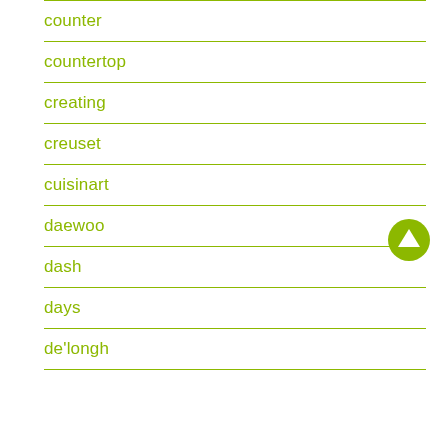counter
countertop
creating
creuset
cuisinart
daewoo
dash
days
de'longh